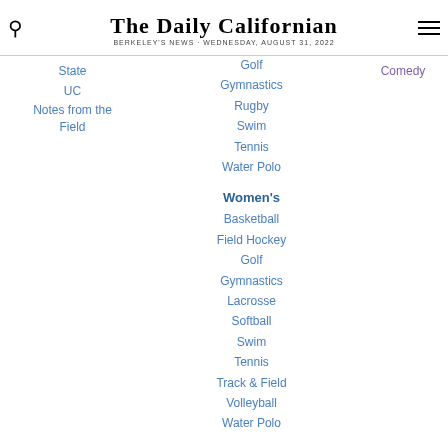THE DAILY CALIFORNIAN
BERKELEY'S NEWS · WEDNESDAY, AUGUST 31, 2022
State
UC
Notes from the Field
Golf
Gymnastics
Rugby
Swim
Tennis
Water Polo
Women's
Basketball
Field Hockey
Golf
Gymnastics
Lacrosse
Softball
Swim
Tennis
Track & Field
Volleyball
Water Polo
Comedy